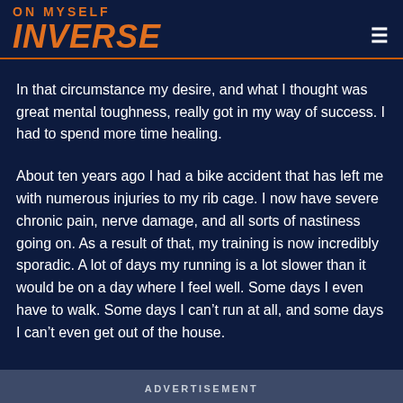ON MYSELF INVERSE
In that circumstance my desire, and what I thought was great mental toughness, really got in my way of success. I had to spend more time healing.
About ten years ago I had a bike accident that has left me with numerous injuries to my rib cage. I now have severe chronic pain, nerve damage, and all sorts of nastiness going on. As a result of that, my training is now incredibly sporadic. A lot of days my running is a lot slower than it would be on a day where I feel well. Some days I even have to walk. Some days I can't run at all, and some days I can't even get out of the house.
ADVERTISEMENT